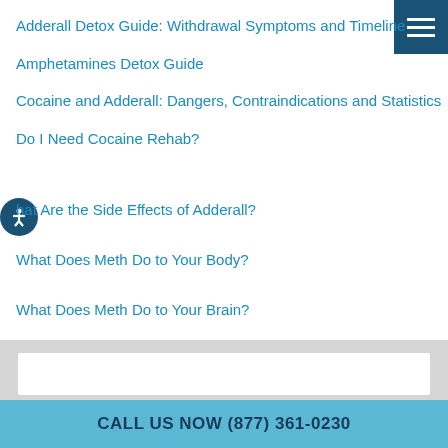Adderall Detox Guide: Withdrawal Symptoms and Timeline
Amphetamines Detox Guide
Cocaine and Adderall: Dangers, Contraindications and Statistics
Do I Need Cocaine Rehab?
What Are the Side Effects of Adderall?
What Does Meth Do to Your Body?
What Does Meth Do to Your Brain?
CALL US NOW (877) 361-0230